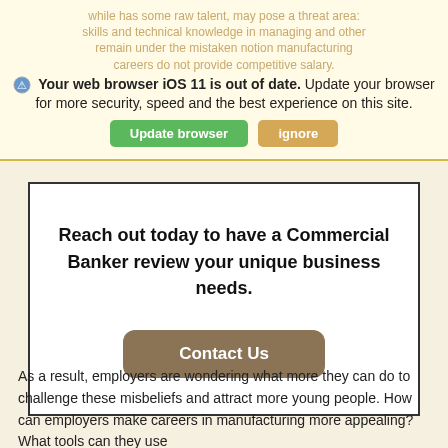Your web browser iOS 11 is out of date. Update your browser for more security, speed and the best experience on this site.
[Figure (screenshot): Browser update notification banner with green 'Update browser' button and tan 'ignore' button]
Reach out today to have a Commercial Banker review your unique business needs.
Contact Us
As a result, employers are wondering what more they can do to challenge these misbeliefs and attract more young people. How can employers make careers in manufacturing more appealing? What tools can they use